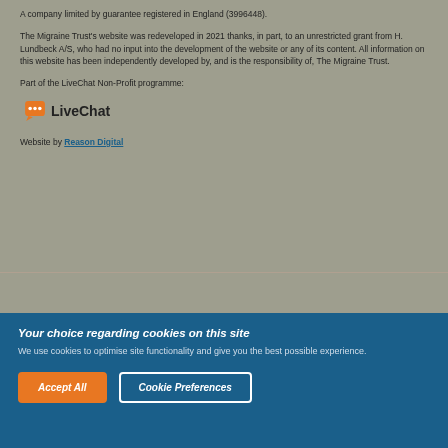A company limited by guarantee registered in England (3996448).
The Migraine Trust's website was redeveloped in 2021 thanks, in part, to an unrestricted grant from H. Lundbeck A/S, who had no input into the development of the website or any of its content. All information on this website has been independently developed by, and is the responsibility of, The Migraine Trust.
Part of the LiveChat Non-Profit programme:
[Figure (logo): LiveChat logo with orange speech bubble icon and bold text 'LiveChat']
Website by Reason Digital
Your choice regarding cookies on this site
We use cookies to optimise site functionality and give you the best possible experience.
Accept All
Cookie Preferences